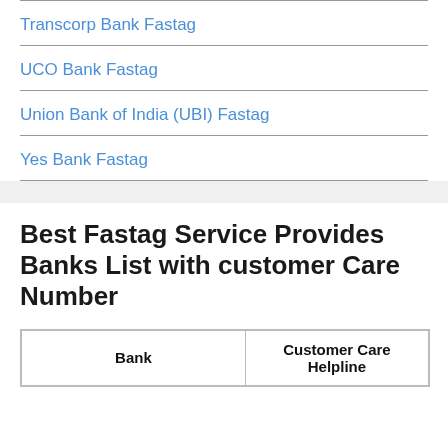Transcorp Bank Fastag
UCO Bank Fastag
Union Bank of India (UBI) Fastag
Yes Bank Fastag
Best Fastag Service Provides Banks List with customer Care Number
| Bank | Customer Care Helpline |
| --- | --- |